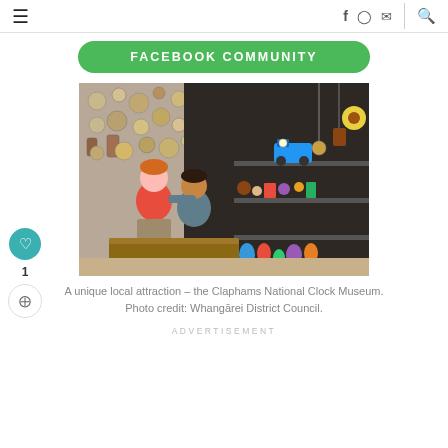≡  f  ◎  ✉  |  🔍
[Figure (screenshot): Green rounded button with text FACEBOOK COMMUNITY]
[Figure (photo): Two boys looking up at exhibits inside Claphams National Clock Museum, surrounded by clocks, toys and collectibles on shelves and walls.]
A unique local attraction – the Claphams National Clock Museum. Photo credit: Whangārei District Council.
ADVERTISEMENT